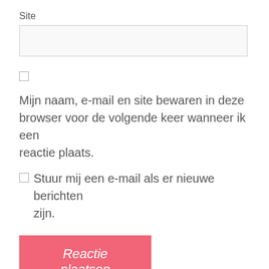Site
[Figure (other): A text input field (form input box) for entering a site URL]
[Figure (other): A checkbox (unchecked)]
Mijn naam, e-mail en site bewaren in deze browser voor de volgende keer wanneer ik een reactie plaats.
Stuur mij een e-mail als er nieuwe berichten zijn.
Reactie plaatsen